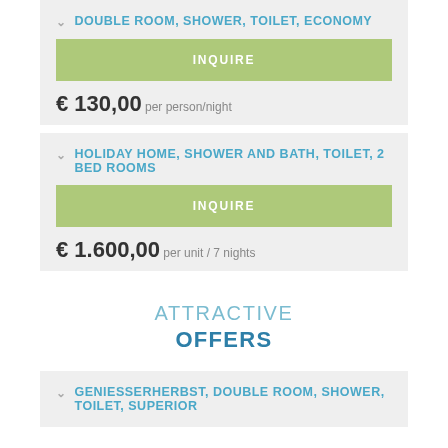DOUBLE ROOM, SHOWER, TOILET, ECONOMY
INQUIRE
€ 130,00 per person/night
HOLIDAY HOME, SHOWER AND BATH, TOILET, 2 BED ROOMS
INQUIRE
€ 1.600,00 per unit / 7 nights
ATTRACTIVE OFFERS
GENIESSERHERBST, DOUBLE ROOM, SHOWER, TOILET, SUPERIOR